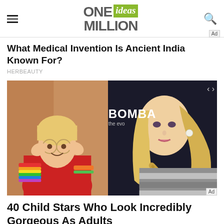ONE ideas MILLION
What Medical Invention Is Ancient India Known For?
HERBEAUTY
[Figure (photo): Two-panel image: left shows a young girl with glasses and colorful bracelets making a funny face; right shows a young blonde woman at a Bomba event wearing a metallic top with a fishtail braid.]
40 Child Stars Who Look Incredibly Gorgeous As Adults